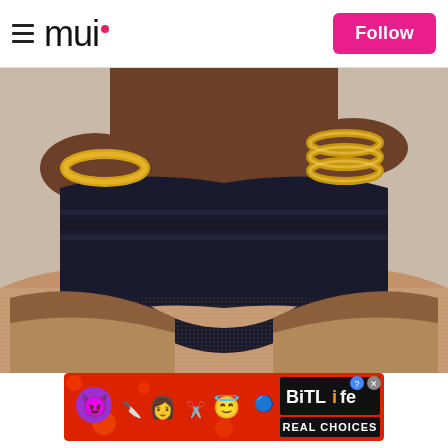mui — Follow
[Figure (photo): Close-up photo of a person wearing a black swimsuit bikini bottom with mesh stripe detail across the waist, gold bangles/bracelets on wrists, with sand covering the thighs/legs, beach setting]
[Figure (screenshot): BitLife mobile game advertisement banner reading 'REAL CHOICES' with emoji characters (devil emoji, person emoji, angel emoji, sperm emoji) on a red/orange background]